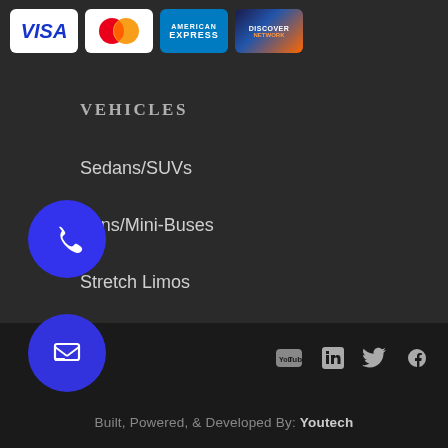[Figure (other): Payment method logos: Visa, Mastercard, American Express, Discover Network]
VEHICLES
Sedans/SUVs
Vans/Mini-Buses
Stretch Limos
Limo Buses/Vans
[Figure (other): Blue circular phone call button]
[Figure (other): Blue circular message/chat button]
[Figure (other): Social media icons: YouTube, LinkedIn, Twitter, Facebook]
Built, Powered, & Developed By: Youtech